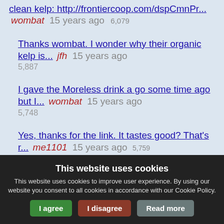clean kelp: http://frontiercoop.com/dspCmnPr... wombat 15 years ago 6,079
Thanks wombat. I wonder why their organic kelp is... jfh 15 years ago 5,887
I gave the Moreless drink a go some time ago but I... wombat 15 years ago 5,748
Yes, thanks for the link. It tastes good? That's r... me1101 15 years ago 5,759
This website uses cookies
This website uses cookies to improve user experience. By using our website you consent to all cookies in accordance with our Cookie Policy.
I agree  I disagree  Read more